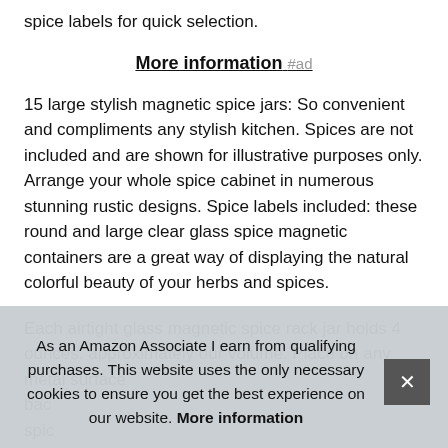spice labels for quick selection.
More information #ad
15 large stylish magnetic spice jars: So convenient and compliments any stylish kitchen. Spices are not included and are shown for illustrative purposes only. Arrange your whole spice cabinet in numerous stunning rustic designs. Spice labels included: these round and large clear glass spice magnetic containers are a great way of displaying the natural colorful beauty of your herbs and spices.
Each airtight glass magnetic spice rack jar holds 4 ounces, approximately our volume. Place on any metal surface back... spice... herb... and... are sturdy and durable and hold confidently on any fridge or
As an Amazon Associate I earn from qualifying purchases. This website uses the only necessary cookies to ensure you get the best experience on our website. More information